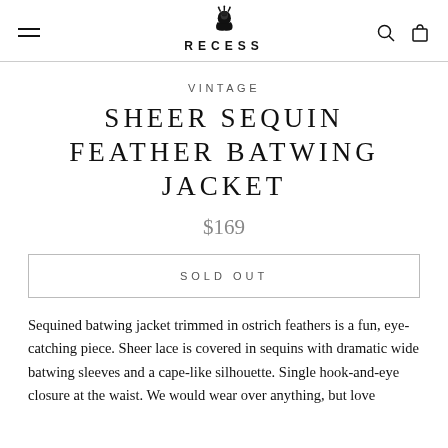RECESS
VINTAGE
SHEER SEQUIN FEATHER BATWING JACKET
$169
SOLD OUT
Sequined batwing jacket trimmed in ostrich feathers is a fun, eye-catching piece. Sheer lace is covered in sequins with dramatic wide batwing sleeves and a cape-like silhouette. Single hook-and-eye closure at the waist. We would wear over anything, but love